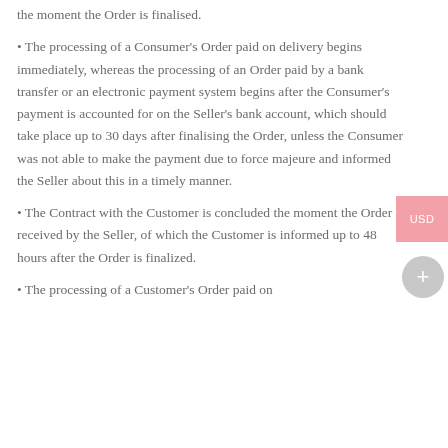the moment the Order is finalised.
The processing of a Consumer's Order paid on delivery begins immediately, whereas the processing of an Order paid by a bank transfer or an electronic payment system begins after the Consumer's payment is accounted for on the Seller's bank account, which should take place up to 30 days after finalising the Order, unless the Consumer was not able to make the payment due to force majeure and informed the Seller about this in a timely manner.
The Contract with the Customer is concluded the moment the Order is received by the Seller, of which the Customer is informed up to 48 hours after the Order is finalized.
The processing of a Customer's Order paid on